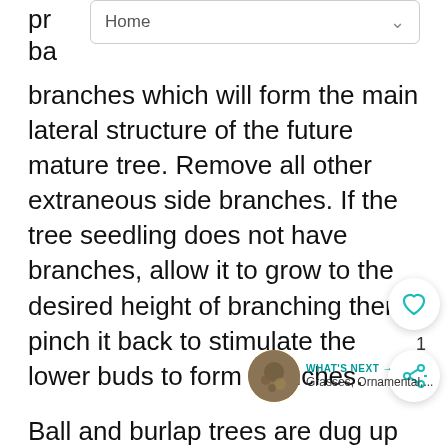pr... d ba...
branches which will form the main lateral structure of the future mature tree. Remove all other extraneous side branches. If the tree seedling does not have branches, allow it to grow to the desired height of branching then pinch it back to stimulate the lower buds to form branches.
Ball and burlap trees are dug up with their root systems somewhat intact. This was mostly done for conifers and broadleaf evergreens but has become common for deciduous trees as well. Since some root mass is lost at the digging stage, a light pruning is generally called for. Head back the plant to compensate